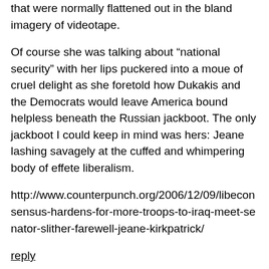that were normally flattened out in the bland imagery of videotape.
Of course she was talking about “national security” with her lips puckered into a moue of cruel delight as she foretold how Dukakis and the Democrats would leave America bound helpless beneath the Russian jackboot. The only jackboot I could keep in mind was hers: Jeane lashing savagely at the cuffed and whimpering body of effete liberalism.
http://www.counterpunch.org/2006/12/09/libeconsensus-hardens-for-more-troops-to-iraq-meet-senator-slither-farewell-jeane-kirkpatrick/
reply